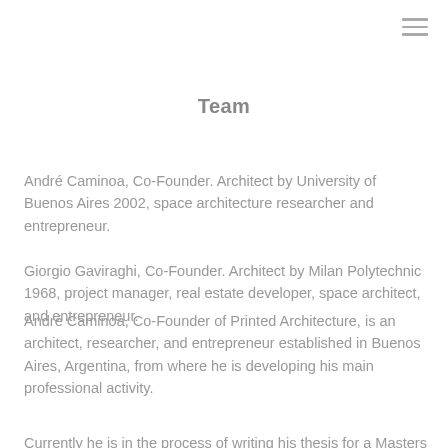≡
Team
André Caminoa, Co-Founder. Architect by University of Buenos Aires 2002, space architecture researcher and entrepreneur.
Giorgio Gaviraghi, Co-Founder. Architect by Milan Polytechnic 1968, project manager, real estate developer, space architect, and entrepreneur.
André Caminoa, Co-Founder of Printed Architecture, is an architect, researcher, and entrepreneur established in Buenos Aires, Argentina, from where he is developing his main professional activity.
Currently he is in the process of writing his thesis for a Masters program in Advanced Architectural Design at the University of Buenos Aires (UBA) for a thesis dissertation that will be focused…